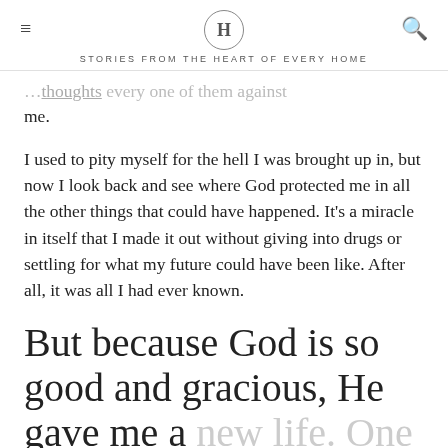H — STORIES FROM THE HEART OF EVERY HOME
…thoughts, every one of them against me.
I used to pity myself for the hell I was brought up in, but now I look back and see where God protected me in all the other things that could have happened. It's a miracle in itself that I made it out without giving into drugs or settling for what my future could have been like. After all, it was all I had ever known.
But because God is so good and gracious, He gave me a new life. One worthy of so